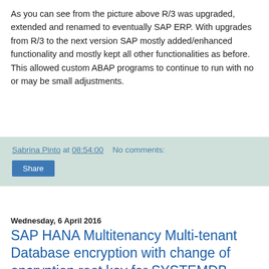As you can see from the picture above R/3 was upgraded, extended and renamed to eventually SAP ERP. With upgrades from R/3 to the next version SAP mostly added/enhanced functionality and mostly kept all other functionalities as before. This allowed custom ABAP programs to continue to run with no or may be small adjustments.
Sabrina Pinto at 08:54:00   No comments:
Share
Wednesday, 6 April 2016
SAP HANA Multitenancy Multi-tenant Database encryption with change of encryption root key for SYSTEMDB
Why This Blog: